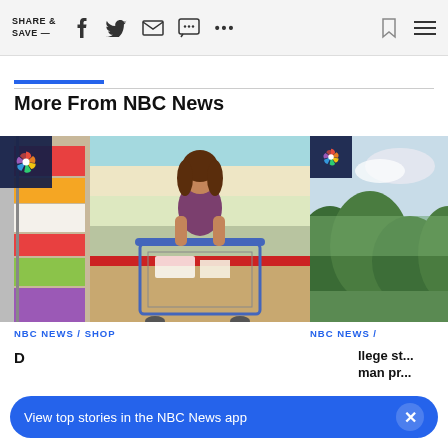SHARE & SAVE —  [social icons: facebook, twitter, email, message, more, bookmark, menu]
More From NBC News
[Figure (photo): Woman pushing a shopping cart in a wholesale store aisle filled with products on shelves, with NBC News logo badge in top left corner]
[Figure (photo): Aerial or elevated view of green trees and landscape, partially visible, with NBC News logo badge in top left corner]
NBC NEWS / SHOP
NBC NEWS /
D...
llege st... man pr...
View top stories in the NBC News app